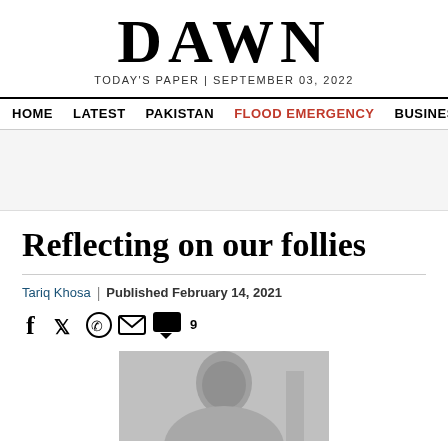DAWN | TODAY'S PAPER | SEPTEMBER 03, 2022
HOME | LATEST | PAKISTAN | FLOOD EMERGENCY | BUSINESS
Reflecting on our follies
Tariq Khosa | Published February 14, 2021
[Figure (photo): Author photo of Tariq Khosa, black and white portrait]
Social share icons: Facebook, Twitter, WhatsApp, Email, Comments (9)